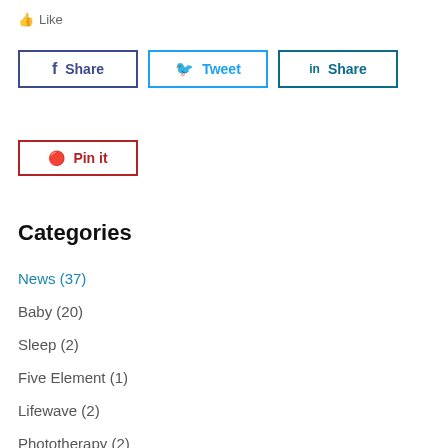👍 Like
f Share | Tweet | in Share
℗ Pin it
Categories
News (37)
Baby (20)
Sleep (2)
Five Element (1)
Lifewave (2)
Phototherapy (2)
AcuPatching (6)
TCM Nutrition (5)